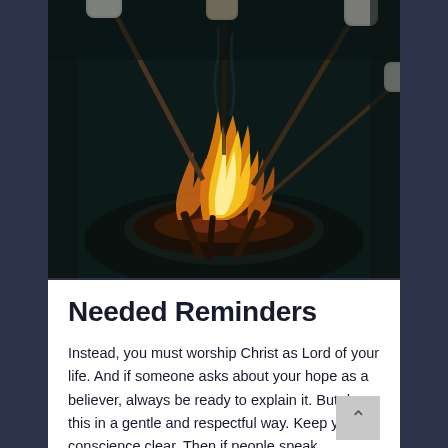[Figure (photo): Overhead photo of people roasting marshmallows over a campfire at night, with orange and yellow flames visible and marshmallows on sticks held by hands around the fire pit]
Needed Reminders
Instead, you must worship Christ as Lord of your life. And if someone asks about your hope as a believer, always be ready to explain it. But do this in a gentle and respectful way. Keep your conscience clear. Then if people speak